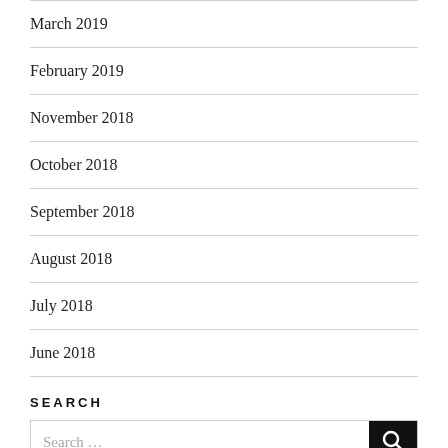March 2019
February 2019
November 2018
October 2018
September 2018
August 2018
July 2018
June 2018
SEARCH